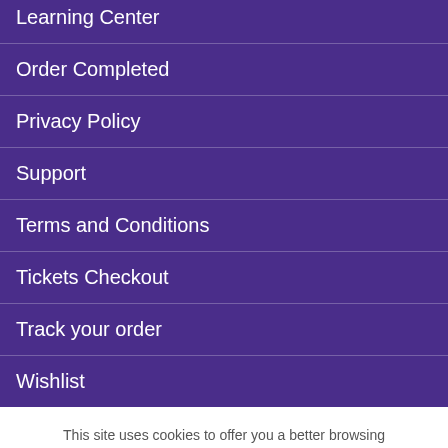Learning Center
Order Completed
Privacy Policy
Support
Terms and Conditions
Tickets Checkout
Track your order
Wishlist
This site uses cookies to offer you a better browsing experience. By browsing this website, you agree to our use of cookies.
Let's Chat! How can we help? 📧